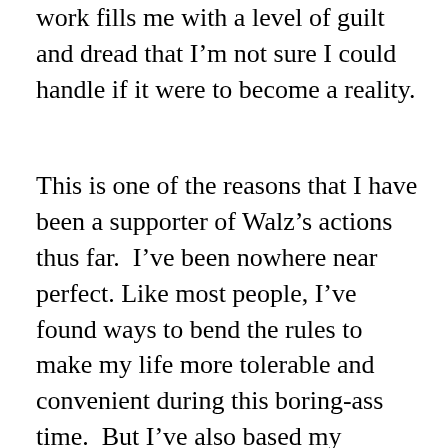work fills me with a level of guilt and dread that I'm not sure I could handle if it were to become a reality.
This is one of the reasons that I have been a supporter of Walz's actions thus far.  I've been nowhere near perfect. Like most people, I've found ways to bend the rules to make my life more tolerable and convenient during this boring-ass time.  But I've also based my bending off the rules as they are written, which has led me to being more well-behaved than I would be if the rules were different. And as a fellow teacher of high school